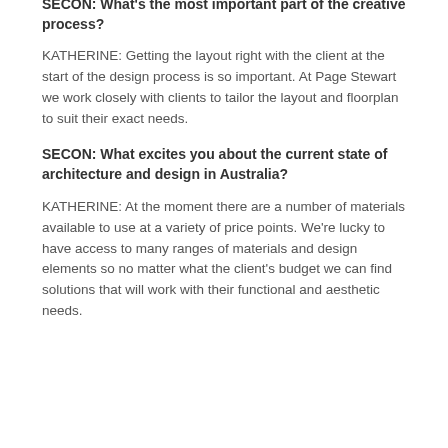natural materials as much as possible with the aim of creating spaces that make the user feel good about themselves.
SECON: What's the most important part of the creative process?
KATHERINE: Getting the layout right with the client at the start of the design process is so important. At Page Stewart we work closely with clients to tailor the layout and floorplan to suit their exact needs.
SECON: What excites you about the current state of architecture and design in Australia?
KATHERINE: At the moment there are a number of materials available to use at a variety of price points. We're lucky to have access to many ranges of materials and design elements so no matter what the client's budget we can find solutions that will work with their functional and aesthetic needs.